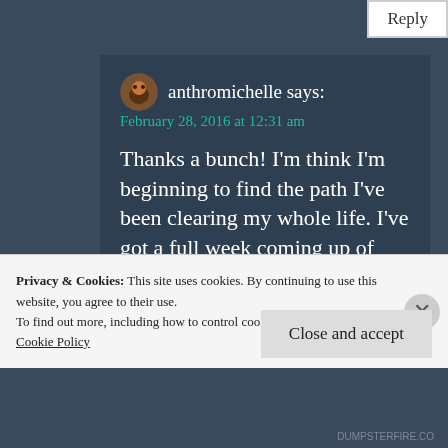Reply
anthromichelle says:
February 28, 2016 at 12:31 am
Thanks a bunch! I'm think I'm beginning to find the path I've been clearing my whole life. I've got a full week coming up of meetings with people to help me pull myself up.
Privacy & Cookies: This site uses cookies. By continuing to use this website, you agree to their use.
To find out more, including how to control cookies, see here:
Cookie Policy
Close and accept